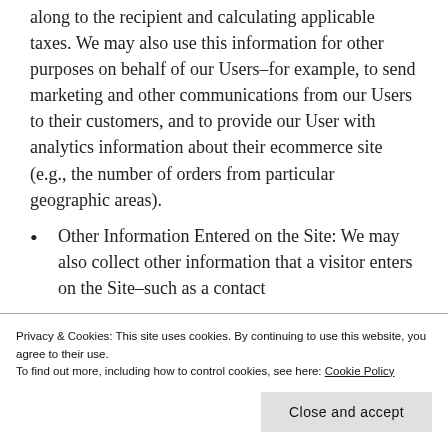along to the recipient and calculating applicable taxes. We may also use this information for other purposes on behalf of our Users–for example, to send marketing and other communications from our Users to their customers, and to provide our User with analytics information about their ecommerce site (e.g., the number of orders from particular geographic areas).
Other Information Entered on the Site: We may also collect other information that a visitor enters on the Site–such as a contact
Privacy & Cookies: This site uses cookies. By continuing to use this website, you agree to their use.
To find out more, including how to control cookies, see here: Cookie Policy
Close and accept